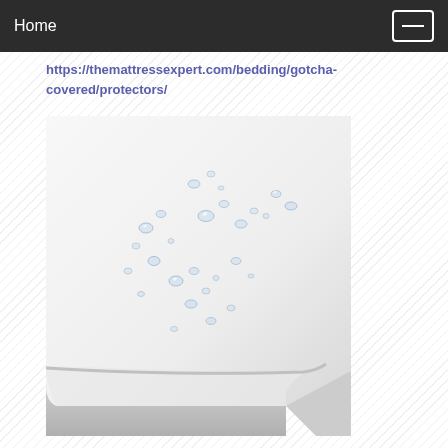Home
https://themattressexpert.com/bedding/gotcha-covered/protectors/
[Figure (photo): A white waterproof mattress protector on a mattress corner, with water droplets beaded on its surface demonstrating waterproof properties.]